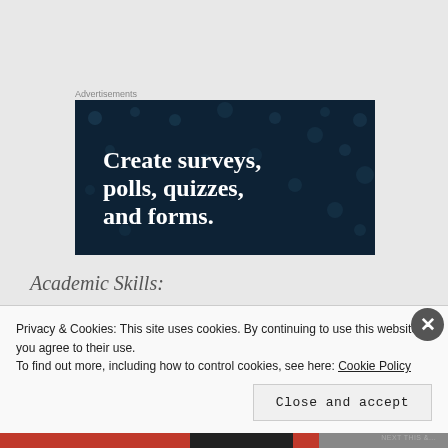Advertisements
[Figure (illustration): Dark navy blue advertisement banner with polka dot pattern and white bold serif text reading 'Create surveys, polls, quizzes, and forms.']
Academic Skills:
Storytelling (partially visible, obscured)
Privacy & Cookies: This site uses cookies. By continuing to use this website, you agree to their use.
To find out more, including how to control cookies, see here: Cookie Policy
Close and accept